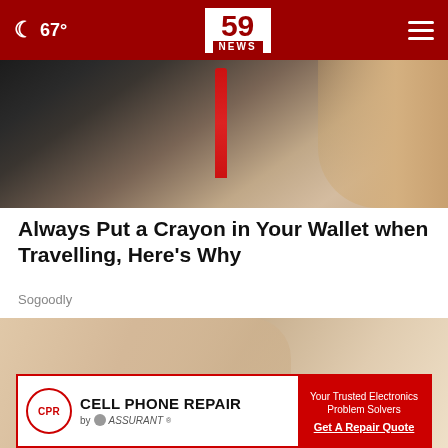🌙 67° | 59 NEWS
[Figure (photo): Close-up of a hand holding a crayon or pencil, dark implements visible against a light background]
Always Put a Crayon in Your Wallet when Travelling, Here's Why
Sogoodly
[Figure (photo): Close-up of a hand touching or scratching skin against a purple/lavender background, with a small dark mole visible]
CELL PHONE REPAIR by ASSURANT | Your Trusted Electronics Problem Solvers | Get A Repair Quote